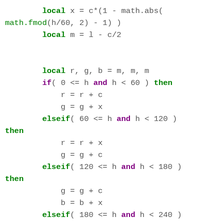Code snippet showing Lua HSL-to-RGB conversion logic with local variable assignments and elseif conditionals